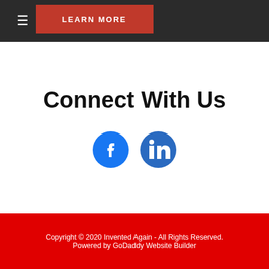[Figure (screenshot): Dark header bar with hamburger menu icon and a red Learn More button]
Connect With Us
[Figure (illustration): Facebook and LinkedIn social media circle icons side by side]
Copyright © 2020 Invented Again - All Rights Reserved. Powered by GoDaddy Website Builder